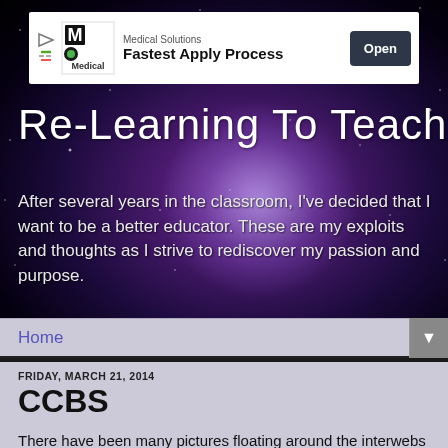[Figure (screenshot): Ad banner for Medical Solutions showing logo with M, text 'Fastest Apply Process', and an Open button]
Re-Learning To Teach
After several years in the classroom, I've decided that I want to be a better educator. These are my exploits and thoughts as I strive to rediscover my passion and purpose.
Home
FRIDAY, MARCH 21, 2014
CCBS
There have been many pictures floating around the interwebs lately that claim to be the insane mathemagical techniques required by Common Core.  The majority of these are shared on Facebook or Twitter with a statement